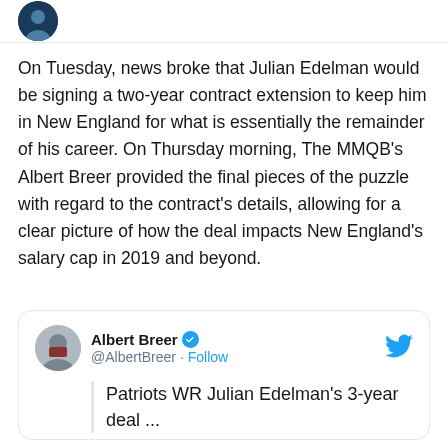[Figure (logo): Circular dark blue logo/avatar at the top left]
On Tuesday, news broke that Julian Edelman would be signing a two-year contract extension to keep him in New England for what is essentially the remainder of his career. On Thursday morning, The MMQB's Albert Breer provided the final pieces of the puzzle with regard to the contract's details, allowing for a clear picture of how the deal impacts New England's salary cap in 2019 and beyond.
[Figure (screenshot): Embedded tweet card from Albert Breer (@AlbertBreer) with verified badge and Follow button. Tweet text: Patriots WR Julian Edelman's 3-year deal ...]